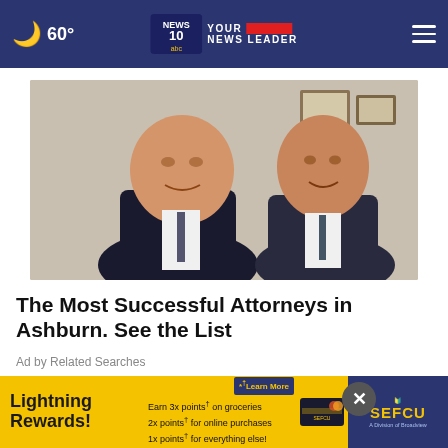60° NEWS 10 abc YOUR LOCAL NEWS LEADER
[Figure (photo): Two men in dark suits and ties smiling, posed together in a professional setting with framed certificates in the background]
The Most Successful Attorneys in Ashburn. See the List
Ad by Related Searches
AROUND THE WEB
[Figure (other): Lightning Rewards advertisement banner for SEFCU: Earn 3x points on groceries, 2x points for online purchases, 1x points for everything else. Learn More button. SEFCU A Division of Broadview.]